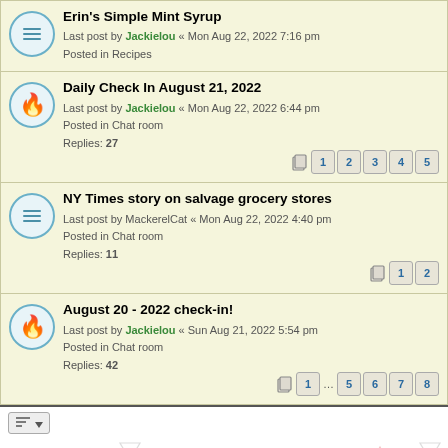Erin's Simple Mint Syrup
Last post by Jackielou « Mon Aug 22, 2022 7:16 pm
Posted in Recipes
Daily Check In August 21, 2022
Last post by Jackielou « Mon Aug 22, 2022 6:44 pm
Posted in Chat room
Replies: 27
NY Times story on salvage grocery stores
Last post by MackerelCat « Mon Aug 22, 2022 4:40 pm
Posted in Chat room
Replies: 11
August 20 - 2022 check-in!
Last post by Jackielou « Sun Aug 21, 2022 5:54 pm
Posted in Chat room
Replies: 42
Search found 20 matches • Page 1 of 1